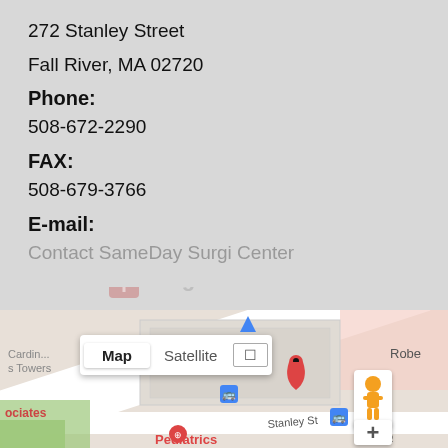272 Stanley Street
Fall River, MA 02720
Phone:
508-672-2290
FAX:
508-679-3766
E-mail:
Contact SameDay Surgi Center
[Figure (map): Google Maps screenshot showing 272 Stanley Street, Fall River MA with a red location pin marker. Map view selected. Shows surrounding streets including Stanley St, Jackson Ct, and nearby landmarks including Pediatrics. Street map view with Map/Satellite/Expand controls visible. Yellow pegman street view icon and + zoom button visible.]